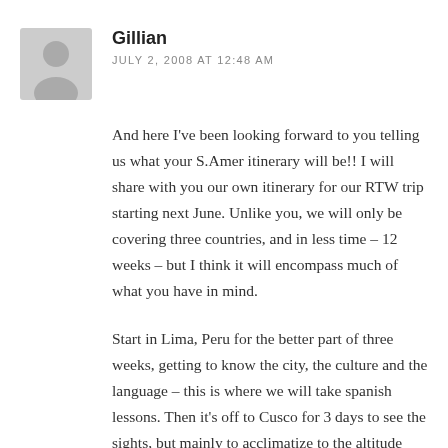[Figure (illustration): Generic gray avatar silhouette of a person, square with rounded top corners]
Gillian
JULY 2, 2008 AT 12:48 AM
And here I've been looking forward to you telling us what your S.Amer itinerary will be!! I will share with you our own itinerary for our RTW trip starting next June. Unlike you, we will only be covering three countries, and in less time – 12 weeks – but I think it will encompass much of what you have in mind.
Start in Lima, Peru for the better part of three weeks, getting to know the city, the culture and the language – this is where we will take spanish lessons. Then it's off to Cusco for 3 days to see the sights, but mainly to acclimatize to the altitude before we head off for the classic Inca trail (so this will be in December for you) – I've decided on the classic trail b/c well, it's a classic!